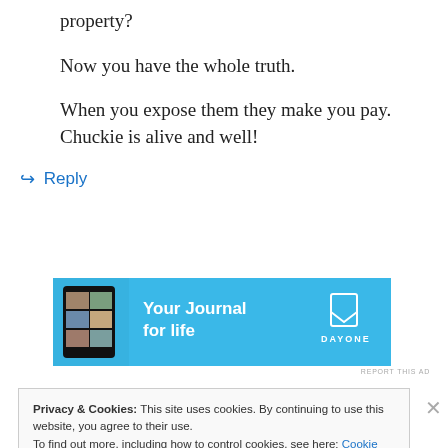property?
Now you have the whole truth.
When you expose them they make you pay. Chuckie is alive and well!
↪ Reply
[Figure (screenshot): Advertisement banner for Day One journal app with blue background, phone image, text 'Your Journal for life' and Day One logo with bookmark icon]
REPORT THIS AD
Privacy & Cookies: This site uses cookies. By continuing to use this website, you agree to their use. To find out more, including how to control cookies, see here: Cookie Policy
Close and accept